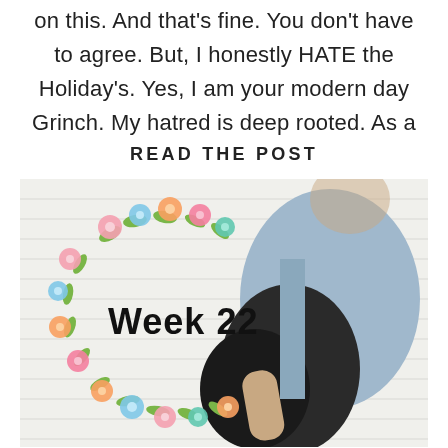on this. And that's fine. You don't have to agree. But, I honestly HATE the Holiday's. Yes, I am your modern day Grinch. My hatred is deep rooted. As a
READ THE POST
[Figure (photo): Pregnant woman standing sideways against a white siding wall, holding her baby bump, wearing a black top and denim jacket. A floral wreath graphic overlays the left side with the text 'Week 22' in bold black.]